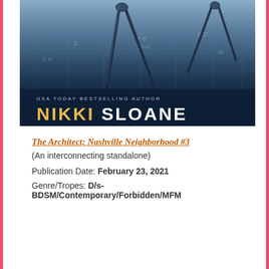[Figure (photo): Book cover for 'The Architect; Nashville Neighborhood #3' by USA Today Bestselling Author Nikki Sloane. Shows architectural drawing compasses/dividers on top of blueprint plans in blue tones. Author name displayed at bottom with 'Nikki' in gold and 'Sloane' in white on dark background.]
The Architect; Nashville Neighborhood #3
(An interconnecting standalone)
Publication Date: February 23, 2021
Genre/Tropes: D/s-BDSM/Contemporary/Forbidden/MFM